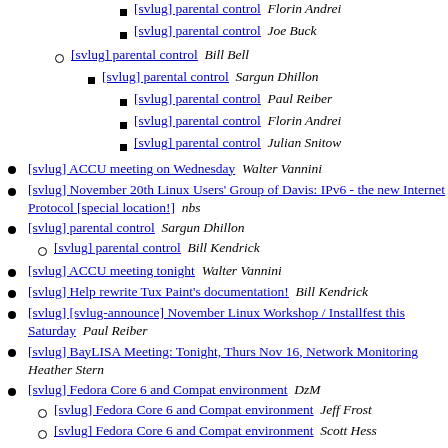[svlug] parental control  Florin Andrei
[svlug] parental control  Joe Buck
[svlug] parental control  Bill Bell
[svlug] parental control  Sargun Dhillon
[svlug] parental control  Paul Reiber
[svlug] parental control  Florin Andrei
[svlug] parental control  Julian Snitow
[svlug] ACCU meeting on Wednesday  Walter Vannini
[svlug] November 20th Linux Users' Group of Davis: IPv6 - the new Internet Protocol [special location!]  nbs
[svlug] parental control  Sargun Dhillon
[svlug] parental control  Bill Kendrick
[svlug] ACCU meeting tonight  Walter Vannini
[svlug] Help rewrite Tux Paint's documentation!  Bill Kendrick
[svlug] [svlug-announce] November Linux Workshop / Installfest this Saturday  Paul Reiber
[svlug] BayLISA Meeting: Tonight, Thurs Nov 16, Network Monitoring  Heather Stern
[svlug] Fedora Core 6 and Compat environment  DzM
[svlug] Fedora Core 6 and Compat environment  Jeff Frost
[svlug] Fedora Core 6 and Compat environment  Scott Hess
[svlug] Fedora Core 6 and Compat environment